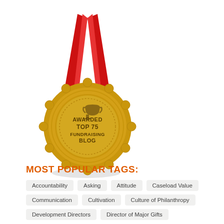[Figure (illustration): Gold award medal with red ribbon, text reading 'AWARDED TOP 75 FUNDRAISING BLOG' in the center of a gold coin with decorative scalloped edge and trophy icon]
MOST POPULAR TAGS:
Accountability
Asking
Attitude
Caseload Value
Communication
Cultivation
Culture of Philanthropy
Development Directors
Director of Major Gifts